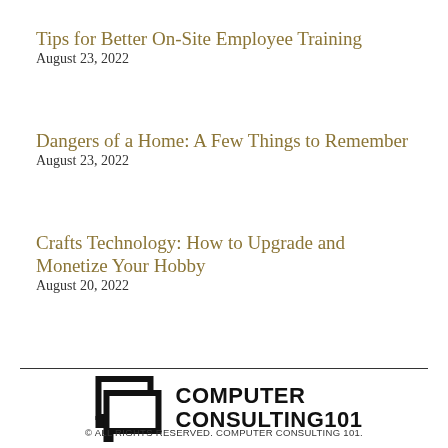Tips for Better On-Site Employee Training
August 23, 2022
Dangers of a Home: A Few Things to Remember
August 23, 2022
Crafts Technology: How to Upgrade and Monetize Your Hobby
August 20, 2022
[Figure (logo): Computer Consulting 101 logo with two overlapping speech bubble icons and bold uppercase text]
© ALL RIGHTS RESERVED. COMPUTER CONSULTING 101.